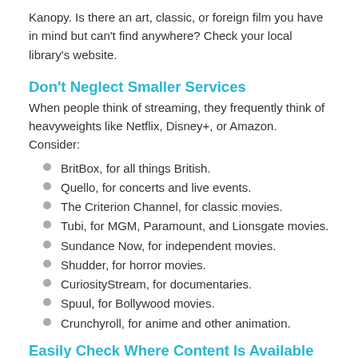Kanopy. Is there an art, classic, or foreign film you have in mind but can't find anywhere? Check your local library's website.
Don't Neglect Smaller Services
When people think of streaming, they frequently think of heavyweights like Netflix, Disney+, or Amazon. Consider:
BritBox, for all things British.
Quello, for concerts and live events.
The Criterion Channel, for classic movies.
Tubi, for MGM, Paramount, and Lionsgate movies.
Sundance Now, for independent movies.
Shudder, for horror movies.
CuriosityStream, for documentaries.
Spuul, for Bollywood movies.
Crunchyroll, for anime and other animation.
Easily Check Where Content Is Available